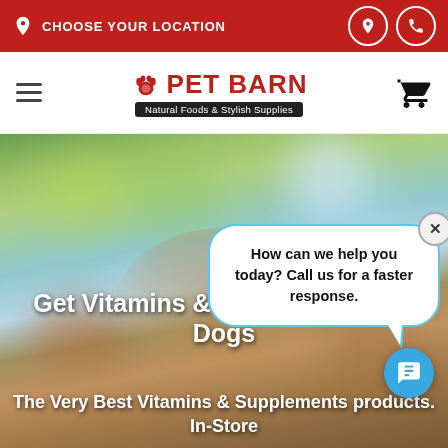CHOOSE YOUR LOCATION
[Figure (logo): Pet Barn logo with paw print icon, red text 'PET BARN', tagline 'Natural Foods & Stylish Supplies' on dark banner]
[Figure (photo): Outdoor blurred background with colorful bokeh (trees, sky), dog partially visible at bottom. Hero banner with text overlay.]
Get Vitamins & Supplements for Dogs
The Very Best Vitamins & Supplements products. In-Store
How can we help you today? Call us for a faster response.